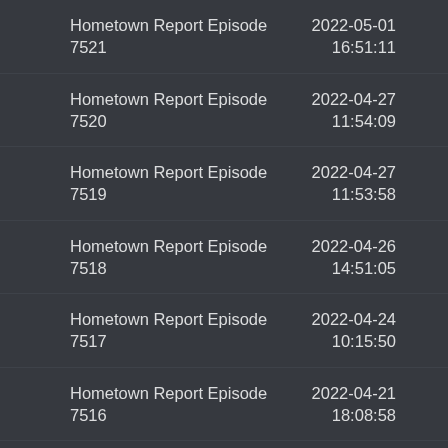Hometown Report Episode 7521 | 2022-05-01 16:51:11
Hometown Report Episode 7520 | 2022-04-27 11:54:09
Hometown Report Episode 7519 | 2022-04-27 11:53:58
Hometown Report Episode 7518 | 2022-04-26 14:51:05
Hometown Report Episode 7517 | 2022-04-24 10:15:50
Hometown Report Episode 7516 | 2022-04-21 18:08:58
Hometown Report Episode 7515 | 2022-04-21